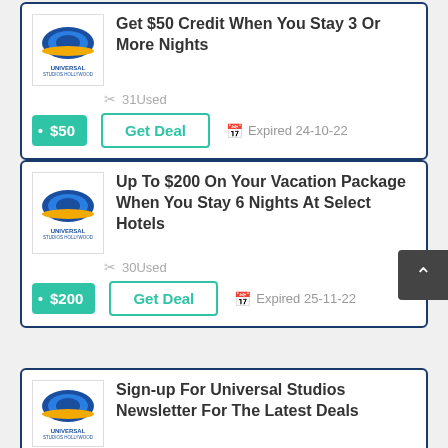[Figure (screenshot): Deal card 1: Get $50 Credit When You Stay 3 Or More Nights, 31 Used, Get Deal button, Expired 24-10-22]
[Figure (screenshot): Deal card 2: Up To $200 On Your Vacation Package When You Stay 6 Nights At Select Hotels, 30 Used, Get Deal button, Expired 25-11-22]
[Figure (screenshot): Deal card 3: Sign-up For Universal Studios Newsletter For The Latest Deals, 89 Used, Get Deal button (partially visible)]